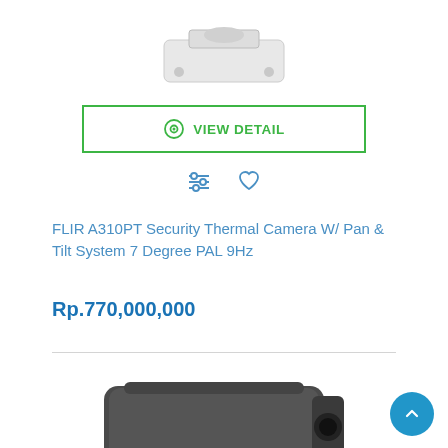[Figure (photo): Partial product image of a white security camera mount/base at the top of the page]
VIEW DETAIL
[Figure (other): Filter/compare icon and heart (wishlist) icon]
FLIR A310PT Security Thermal Camera W/ Pan & Tilt System 7 Degree PAL 9Hz
Rp.770,000,000
[Figure (photo): Partial product image of a dark grey box-style security thermal camera at the bottom of the page]